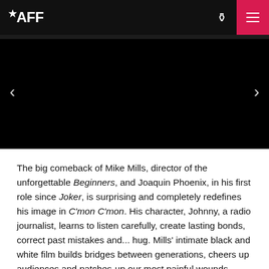*AFF
[Figure (screenshot): Dark/black hero image slideshow area with left and right navigation arrows on a black background]
The big comeback of Mike Mills, director of the unforgettable Beginners, and Joaquin Phoenix, in his first role since Joker, is surprising and completely redefines his image in C'mon C'mon. His character, Johnny, a radio journalist, learns to listen carefully, create lasting bonds, correct past mistakes and... hug. Mills' intimate black and white film builds bridges between generations, cheers up audiences and patches-up our most painful wounds. Phoenix plays a New York single man who